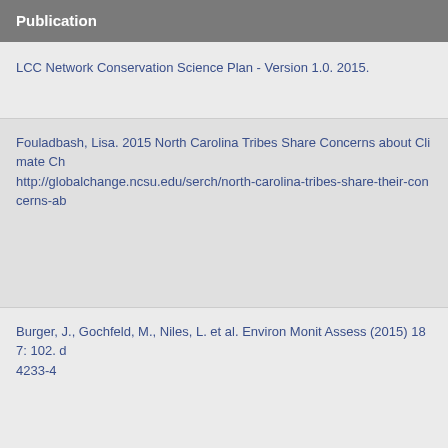Publication
LCC Network Conservation Science Plan - Version 1.0. 2015.
Fouladbash, Lisa. 2015 North Carolina Tribes Share Concerns about Climate Ch... http://globalchange.ncsu.edu/serch/north-carolina-tribes-share-their-concerns-ab...
Burger, J., Gochfeld, M., Niles, L. et al. Environ Monit Assess (2015) 187: 102. d... 4233-4